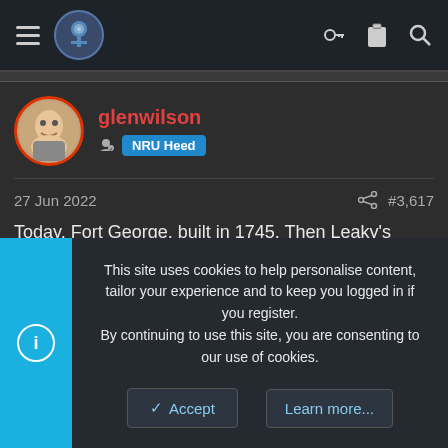Navigation bar with hamburger menu, logo, key icon, clipboard icon, search icon
[Figure (photo): Circular avatar of glenwilson user with orange/red border]
glenwilson
NRU Heed
27 Jun 2022
#3,617
Today, Fort George, built in 1745. Then Leaky's bookshop (on wife's to do list). The the Black Isle Brewery. may have got 30 cans. Tomorrow a couple of castles.
[Figure (photo): Outdoor sky photo with blue sky and white/grey clouds]
This site uses cookies to help personalise content, tailor your experience and to keep you logged in if you register. By continuing to use this site, you are consenting to our use of cookies.
Accept
Learn more...